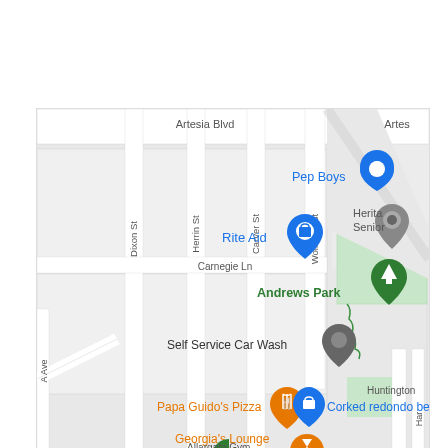[Figure (map): Google Maps screenshot showing a neighborhood map centered around Artesia Blvd area. Visible streets include Dixon St, Herrin St, Carver St, Wollacott St, and Carnegie Ln. Points of interest shown include: Pep Boys (blue shopping pin), Rite Aid (blue shopping pin), Heritage Senior (gray location pin), Andrews Park (green tree pin), Self Service Car Wash (gray pin), Papa Guido's Pizza (orange fork/spoon pin), Corked redondo be[ach] (blue shopping pin), Georgia's Lounge (orange cocktail pin), and Huntington label. A partial street labeled 'A Ave' is visible on the left.]